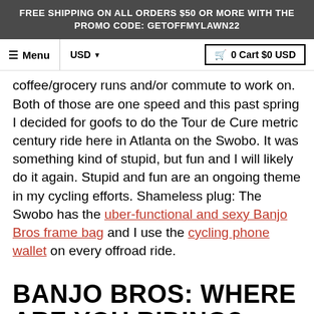FREE SHIPPING ON ALL ORDERS $50 OR MORE WITH THE PROMO CODE: GETOFFMYLAWN22
☰ Menu | USD ▾ | 🛒 0 Cart $0 USD
coffee/grocery runs and/or commute to work on. Both of those are one speed and this past spring I decided for goofs to do the Tour de Cure metric century ride here in Atlanta on the Swobo. It was something kind of stupid, but fun and I will likely do it again. Stupid and fun are an ongoing theme in my cycling efforts. Shameless plug: The Swobo has the uber-functional and sexy Banjo Bros frame bag and I use the cycling phone wallet on every offroad ride.
BANJO BROS: WHERE ARE YOU RIDING?